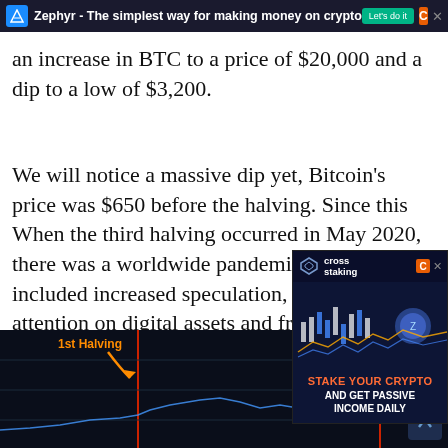[Figure (screenshot): Top browser ad banner: Zephyr - The simplest way for making money on crypto, with Let's do it button and CoinMarketCap C icon]
an increase in BTC to a price of $20,000 and a dip to a low of $3,200.
We will notice a massive dip yet, Bitcoin's price was $650 before the halving. Since this When the third halving occurred in May 2020, there was a worldwide pandemic, COVID-19 included increased speculation, institutional attention on digital assets and from celebrities. With these factors combined, the price at which Bitcoin will s...
[Figure (screenshot): Cross Staking popup ad with crypto chart, STAKE YOUR CRYPTO AND GET PASSIVE INCOME DAILY]
[Figure (screenshot): Bitcoin halving chart showing 1st Halving and 2nd Halving labels with orange arrows and red vertical lines on dark background]